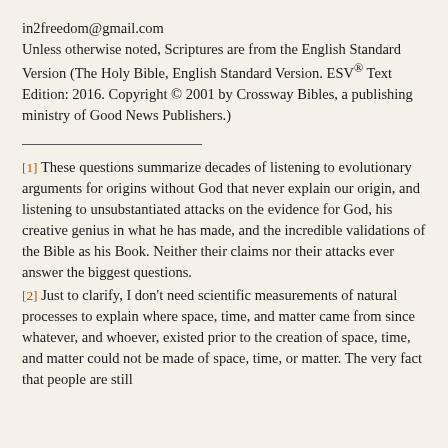in2freedom@gmail.com
Unless otherwise noted, Scriptures are from the English Standard Version (The Holy Bible, English Standard Version. ESV® Text Edition: 2016. Copyright © 2001 by Crossway Bibles, a publishing ministry of Good News Publishers.)
[1] These questions summarize decades of listening to evolutionary arguments for origins without God that never explain our origin, and listening to unsubstantiated attacks on the evidence for God, his creative genius in what he has made, and the incredible validations of the Bible as his Book. Neither their claims nor their attacks ever answer the biggest questions.
[2] Just to clarify, I don't need scientific measurements of natural processes to explain where space, time, and matter came from since whatever, and whoever, existed prior to the creation of space, time, and matter could not be made of space, time, or matter. The very fact that people are still